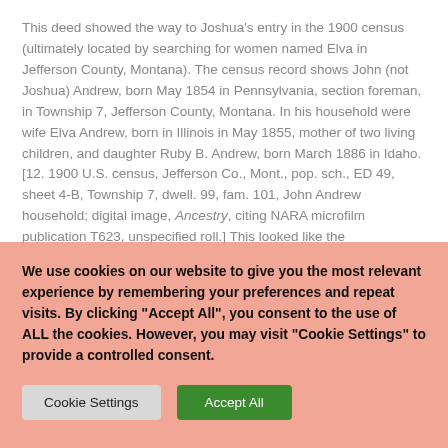This deed showed the way to Joshua's entry in the 1900 census (ultimately located by searching for women named Elva in Jefferson County, Montana). The census record shows John (not Joshua) Andrew, born May 1854 in Pennsylvania, section foreman, in Township 7, Jefferson County, Montana. In his household were wife Elva Andrew, born in Illinois in May 1855, mother of two living children, and daughter Ruby B. Andrew, born March 1886 in Idaho.[12. 1900 U.S. census, Jefferson Co., Mont., pop. sch., ED 49, sheet 4-B, Township 7, dwell. 99, fam. 101, John Andrew household; digital image, Ancestry, citing NARA microfilm publication T623, unspecified roll.] This looked like the
We use cookies on our website to give you the most relevant experience by remembering your preferences and repeat visits. By clicking "Accept All", you consent to the use of ALL the cookies. However, you may visit "Cookie Settings" to provide a controlled consent.